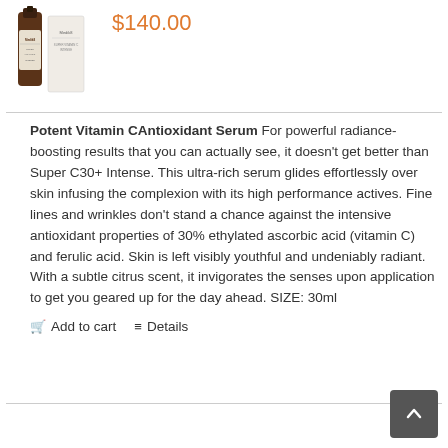[Figure (photo): Product image of Medik8 vitamin C serum bottle with packaging box]
$140.00
Potent Vitamin CAntioxidant Serum For powerful radiance-boosting results that you can actually see, it doesn't get better than Super C30+ Intense. This ultra-rich serum glides effortlessly over skin infusing the complexion with its high performance actives. Fine lines and wrinkles don't stand a chance against the intensive antioxidant properties of 30% ethylated ascorbic acid (vitamin C) and ferulic acid. Skin is left visibly youthful and undeniably radiant. With a subtle citrus scent, it invigorates the senses upon application to get you geared up for the day ahead. SIZE: 30ml
Add to cart
Details